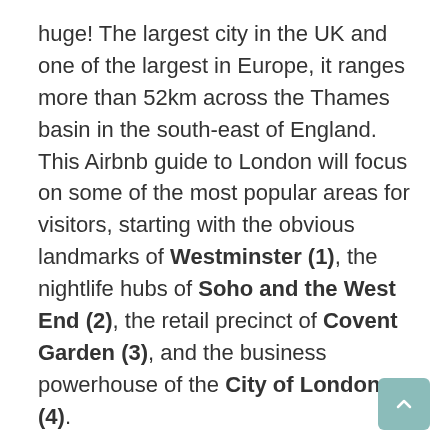huge! The largest city in the UK and one of the largest in Europe, it ranges more than 52km across the Thames basin in the south-east of England. This Airbnb guide to London will focus on some of the most popular areas for visitors, starting with the obvious landmarks of Westminster (1), the nightlife hubs of Soho and the West End (2), the retail precinct of Covent Garden (3), and the business powerhouse of the City of London (4).

Then, we'll hop over to the A-lister meccas of Chelsea and Knightsbridge (5), where Ferraris and champagne bars dot the streets, before checking out the sleek